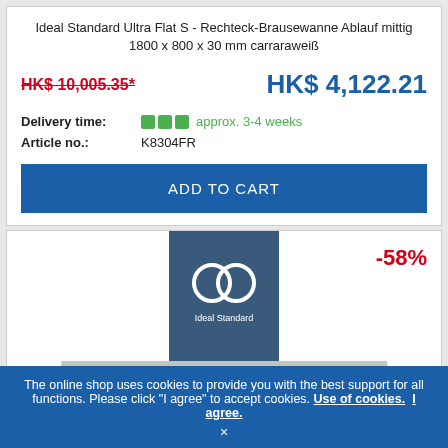Ideal Standard Ultra Flat S - Rechteck-Brausewanne Ablauf mittig 1800 x 800 x 30 mm carraraweiß
HK$ 10,005.35*
HK$ 4,122.21
Delivery time: approx. 3-4 weeks
Article no.: K8304FR
ADD TO CART
[Figure (logo): Ideal Standard logo — white circular double-ring symbol on dark blue square background with 'Ideal Standard' text]
-58%
The online shop uses cookies to provide you with the best support for all functions. Please click "I agree" to accept cookies. Use of cookies. I agree.
×